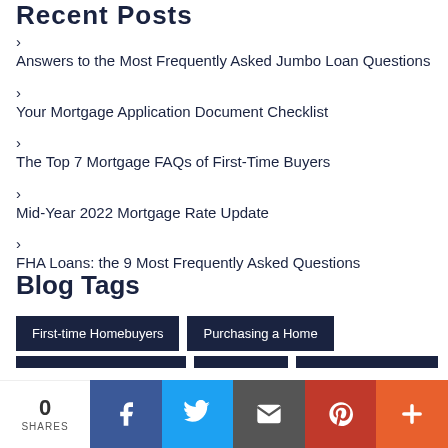Recent Posts
Answers to the Most Frequently Asked Jumbo Loan Questions
Your Mortgage Application Document Checklist
The Top 7 Mortgage FAQs of First-Time Buyers
Mid-Year 2022 Mortgage Rate Update
FHA Loans: the 9 Most Frequently Asked Questions
Blog Tags
First-time Homebuyers
Purchasing a Home
0 SHARES